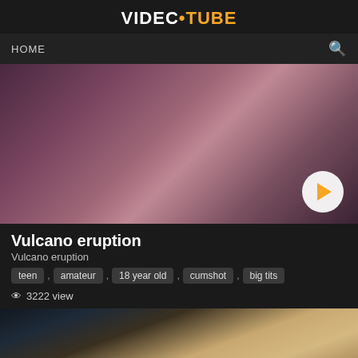VIDEC•TUBE
HOME
[Figure (screenshot): Video thumbnail showing close-up dark reddish-brown tones with a play button overlay]
Vulcano eruption
Vulcano eruption
teen , amateur , 18 year old , cumshot , big tits
3222 view
[Figure (screenshot): Second video thumbnail with duration badge 0:26, showing blurred close-up with dark and tan tones]